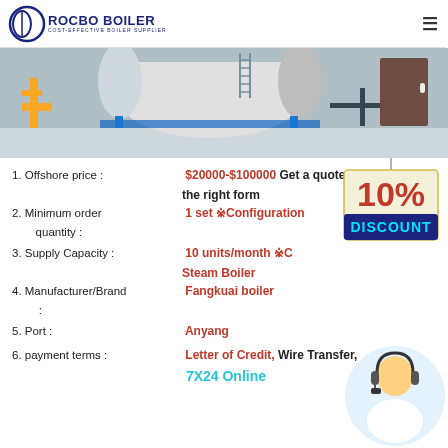[Figure (logo): Rocbo Boiler logo with circular graphic and text 'COST-EFFECTIVE BOILER SUPPLIER']
[Figure (photo): Industrial boiler equipment in a factory/warehouse setting]
1. Offshore price : $20000-$100000 Get a quote on the right form
2. Minimum order quantity : 1 set ※Configuration
3. Supply Capacity : 10 units/month ※C... Steam Boiler
4. Manufacturer/Brand : Fangkuai boiler
5. Port : Anyang
6. payment terms : Letter of Credit, Wire Transfer, 7X24 Online